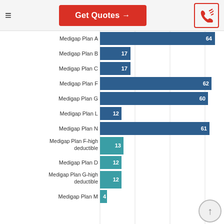Get Quotes →
[Figure (bar-chart): Medigap Plans - Number of Insurers]